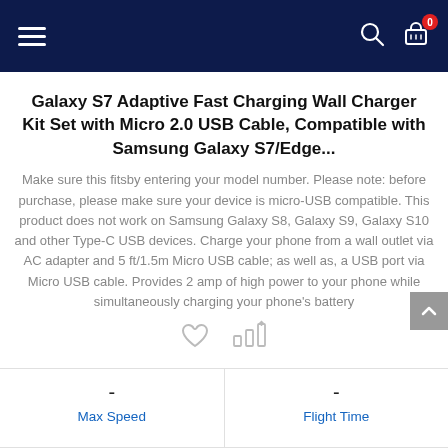Navigation bar with hamburger menu, search icon, and cart icon (0 items)
Galaxy S7 Adaptive Fast Charging Wall Charger Kit Set with Micro 2.0 USB Cable, Compatible with Samsung Galaxy S7/Edge...
Make sure this fitsby entering your model number. Please note: before purchase, please make sure your device is micro-USB compatible. This product does not work on Samsung Galaxy S8, Galaxy S9, Galaxy S10 and other Type-C USB devices. Charge your phone from a wall outlet via AC adapter and 5 ft/1.5m Micro USB cable; as well as, a USB port via Micro USB cable. Provides 2 amp of high power to your phone while simultaneously charging your phone's battery
[Figure (illustration): Heart icon and bar chart comparison icon]
- Max Speed
- Flight Time